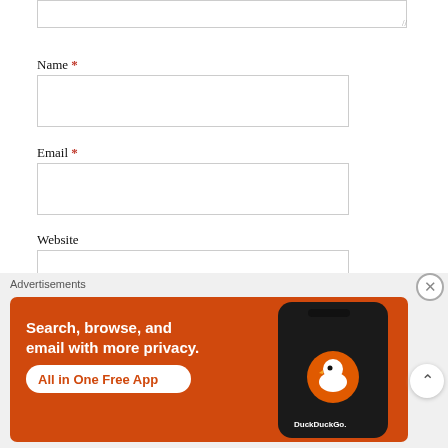[textarea top, partially visible]
Name *
Email *
Website
POST COMMENT
Advertisements
[Figure (screenshot): DuckDuckGo advertisement banner: orange background with text 'Search, browse, and email with more privacy. All in One Free App' and a phone showing DuckDuckGo logo on the right.]